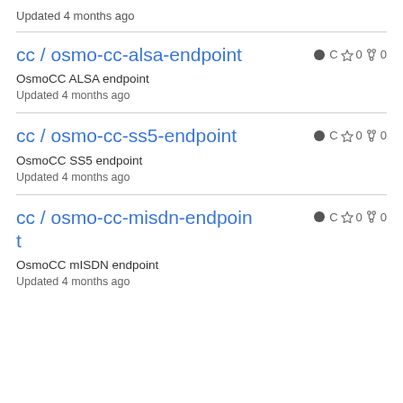Updated 4 months ago
cc / osmo-cc-alsa-endpoint · C ☆ 0 ⑂ 0
OsmoCC ALSA endpoint
Updated 4 months ago
cc / osmo-cc-ss5-endpoint · C ☆ 0 ⑂ 0
OsmoCC SS5 endpoint
Updated 4 months ago
cc / osmo-cc-misdn-endpoint · C ☆ 0 ⑂ 0
OsmoCC mISDN endpoint
Updated 4 months ago